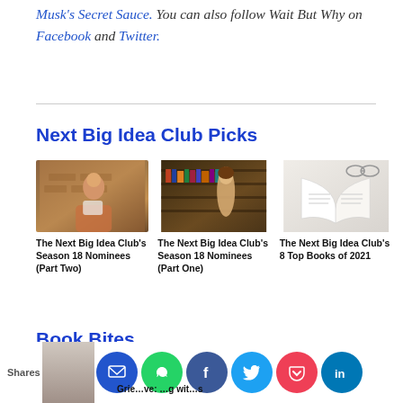Musk's Secret Sauce. You can also follow Wait But Why on Facebook and Twitter.
Next Big Idea Club Picks
[Figure (photo): Person sitting and reading a book outdoors against a brick wall]
The Next Big Idea Club's Season 18 Nominees (Part Two)
[Figure (photo): Person browsing books in a library]
The Next Big Idea Club's Season 18 Nominees (Part One)
[Figure (photo): Open book on a white background]
The Next Big Idea Club's 8 Top Books of 2021
Book Bites
[Figure (photo): Partial thumbnail image with social sharing buttons: SMS, WhatsApp, Facebook, Twitter, Pocket, LinkedIn]
Grief…ve: …g wit…s